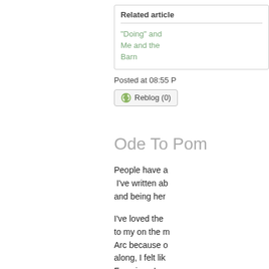Related articles
"Doing" and Me and the Barn
Posted at 08:55 P
Reblog (0)
Ode To Pom
People have a I've written ab and being her
I've loved the to my on the m Arc because o along, I felt lik Francis or Lou